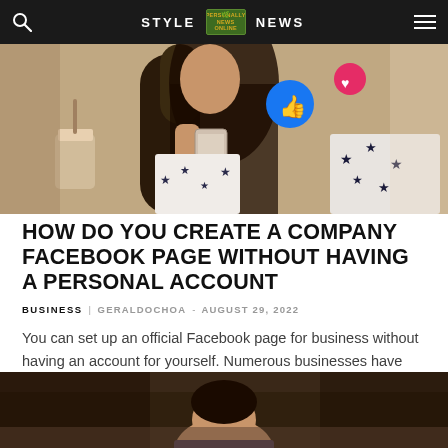STYLE  [LOGO]  NEWS
[Figure (photo): Woman holding a smartphone with Facebook like and heart reaction icons floating above, wearing a star-patterned white top]
HOW DO YOU CREATE A COMPANY FACEBOOK PAGE WITHOUT HAVING A PERSONAL ACCOUNT
BUSINESS  GERALDOCHOA - AUGUST 29, 2022
You can set up an official Facebook page for business without having an account for yourself. Numerous businesses have utilized Facebook to promote their...
[Figure (photo): Person sitting at a desk, partial view showing head and shoulders]